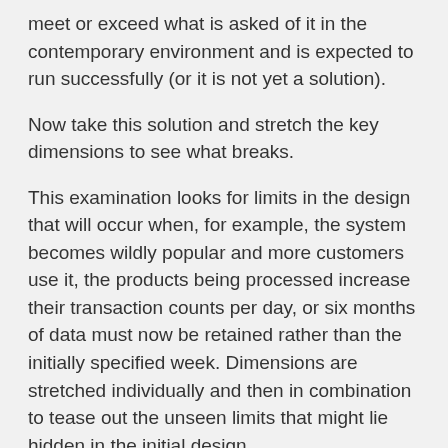meet or exceed what is asked of it in the contemporary environment and is expected to run successfully (or it is not yet a solution).
Now take this solution and stretch the key dimensions to see what breaks.
This examination looks for limits in the design that will occur when, for example, the system becomes wildly popular and more customers use it, the products being processed increase their transaction counts per day, or six months of data must now be retained rather than the initially specified week. Dimensions are stretched individually and then in combination to tease out the unseen limits that might lie hidden in the initial design.
Stretching key dimensions allows an architect to validate a solution by: